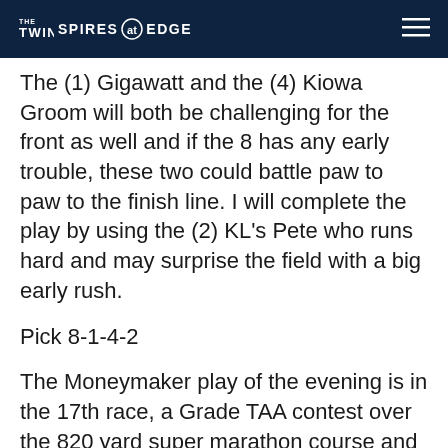THE TWINSPIRES EDGE
The (1) Gigawatt and the (4) Kiowa Groom will both be challenging for the front as well and if the 8 has any early trouble, these two could battle paw to paw to the finish line. I will complete the play by using the (2) KL's Pete who runs hard and may surprise the field with a big early rush.
Pick 8-1-4-2
The Moneymaker play of the evening is in the 17th race, a Grade TAA contest over the 820 yard super marathon course and